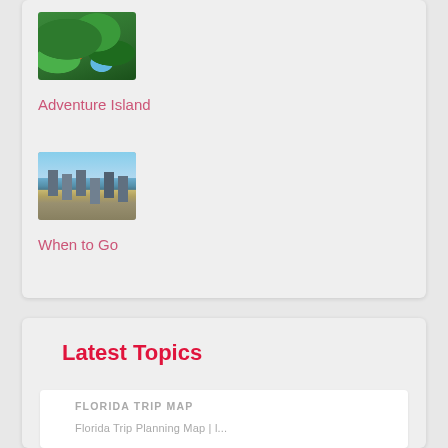[Figure (photo): Aerial view of a resort with lush green trees and colorful rooftops, pool visible]
Adventure Island
[Figure (photo): City skyline reflected in water, blue sky with clouds]
When to Go
Latest Topics
FLORIDA TRIP MAP
Florida Trip Planning Map | l...